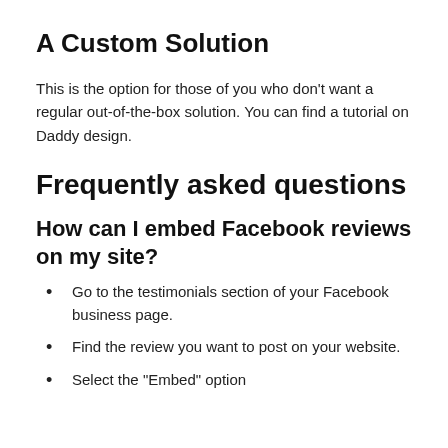A Custom Solution
This is the option for those of you who don't want a regular out-of-the-box solution. You can find a tutorial on Daddy design.
Frequently asked questions
How can I embed Facebook reviews on my site?
Go to the testimonials section of your Facebook business page.
Find the review you want to post on your website.
Select the “Embed” option